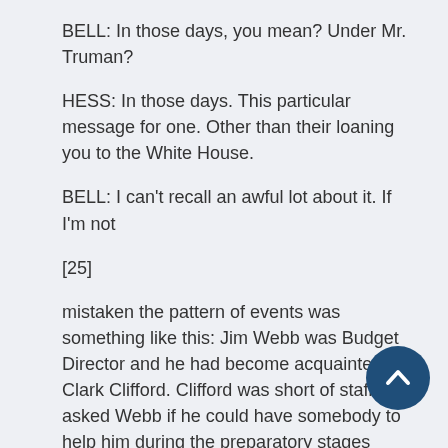BELL: In those days, you mean? Under Mr. Truman?
HESS: In those days. This particular message for one. Other than their loaning you to the White House.
BELL: I can't recall an awful lot about it. If I'm not
[25]
mistaken the pattern of events was something like this: Jim Webb was Budget Director and he had become acquainted with Clark Clifford. Clifford was short of staff and asked Webb if he could have somebody to help him during the preparatory stages leading up to the state of the Union message, because Clifford wanted to ask for recommendations from all of the various Government agencies, recommendations as to what should be included in the state of the Union message and what positions the President ought to take. That involved a lot of work, getting in touch with the various
[Figure (other): Scroll-to-top circular button overlay in dark navy blue with upward chevron arrow]